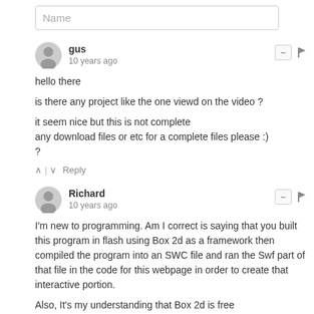Name
gus
10 years ago
hello there

is there any project like the one viewd on the video ?

it seem nice but this is not complete
any download files or etc for a complete files please :)
?
^ | v  Reply
Richard
10 years ago
I'm new to programming. Am I correct is saying that you built this program in flash using Box 2d as a framework then compiled the program into an SWC file and ran the Swf part of that file in the code for this webpage in order to create that interactive portion.

Also, It's my understanding that Box 2d is free